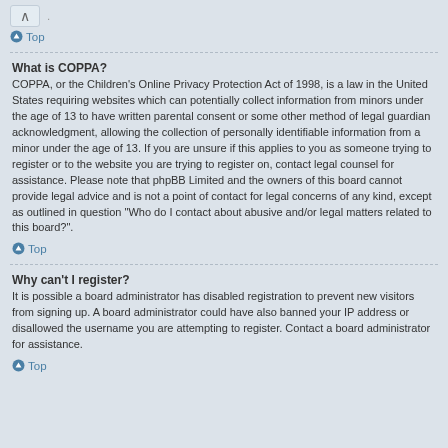Top
What is COPPA?
COPPA, or the Children’s Online Privacy Protection Act of 1998, is a law in the United States requiring websites which can potentially collect information from minors under the age of 13 to have written parental consent or some other method of legal guardian acknowledgment, allowing the collection of personally identifiable information from a minor under the age of 13. If you are unsure if this applies to you as someone trying to register or to the website you are trying to register on, contact legal counsel for assistance. Please note that phpBB Limited and the owners of this board cannot provide legal advice and is not a point of contact for legal concerns of any kind, except as outlined in question “Who do I contact about abusive and/or legal matters related to this board?”.
Top
Why can’t I register?
It is possible a board administrator has disabled registration to prevent new visitors from signing up. A board administrator could have also banned your IP address or disallowed the username you are attempting to register. Contact a board administrator for assistance.
Top